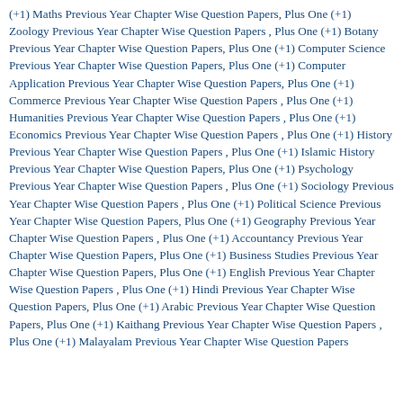(+1) Maths Previous Year Chapter Wise Question Papers, Plus One (+1) Zoology Previous Year Chapter Wise Question Papers , Plus One (+1) Botany Previous Year Chapter Wise Question Papers, Plus One (+1) Computer Science Previous Year Chapter Wise Question Papers, Plus One (+1) Computer Application Previous Year Chapter Wise Question Papers, Plus One (+1) Commerce Previous Year Chapter Wise Question Papers , Plus One (+1) Humanities Previous Year Chapter Wise Question Papers , Plus One (+1) Economics Previous Year Chapter Wise Question Papers , Plus One (+1) History Previous Year Chapter Wise Question Papers , Plus One (+1) Islamic History Previous Year Chapter Wise Question Papers, Plus One (+1) Psychology Previous Year Chapter Wise Question Papers , Plus One (+1) Sociology Previous Year Chapter Wise Question Papers , Plus One (+1) Political Science Previous Year Chapter Wise Question Papers, Plus One (+1) Geography Previous Year Chapter Wise Question Papers , Plus One (+1) Accountancy Previous Year Chapter Wise Question Papers, Plus One (+1) Business Studies Previous Year Chapter Wise Question Papers, Plus One (+1) English Previous Year Chapter Wise Question Papers , Plus One (+1) Hindi Previous Year Chapter Wise Question Papers, Plus One (+1) Arabic Previous Year Chapter Wise Question Papers, Plus One (+1) Kaithang Previous Year Chapter Wise Question Papers , Plus One (+1) Malayalam Previous Year Chapter Wise Question Papers